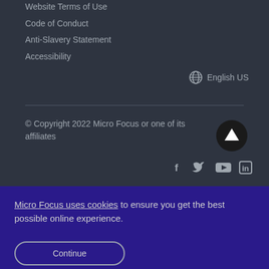Website Terms of Use
Code of Conduct
Anti-Slavery Statement
Accessibility
English US
© Copyright 2022 Micro Focus or one of its affiliates
[Figure (infographic): Social media icons: Facebook (f), Twitter (bird), YouTube (play), LinkedIn (in)]
Micro Focus uses cookies to ensure you get the best possible online experience.
Continue